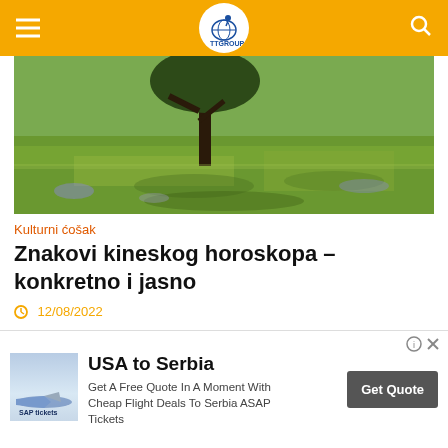TTGroup navigation header with logo
[Figure (photo): Landscape photo showing a tree on a green grassy field]
Kulturni ćošak
Znakovi kineskog horoskopa – konkretno i jasno
12/08/2022
Mistična mesta
[Figure (screenshot): Advertisement: USA to Serbia - Get A Free Quote In A Moment With Cheap Flight Deals To Serbia ASAP Tickets - Get Quote button]